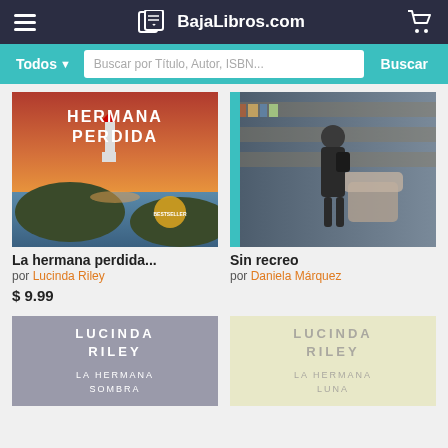BajaLibros.com
Todos  Buscar por Título, Autor, ISBN...  Buscar
[Figure (photo): Book cover: La hermana perdida - Hermana Perdida text over coastal sunset with lighthouse]
[Figure (photo): Book cover: Sin recreo - girl standing with backpack in library/bookstore]
La hermana perdida...
por Lucinda Riley
$ 9.99
Sin recreo
por Daniela Márquez
[Figure (photo): Book cover: Lucinda Riley - La Hermana Sombra, gray background]
[Figure (photo): Book cover: Lucinda Riley - La Hermana Luna, cream/yellow background]